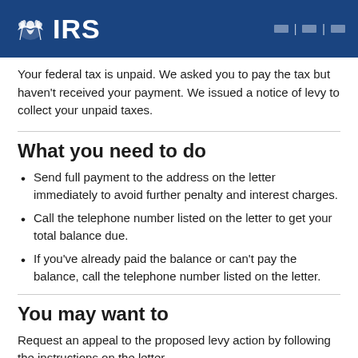IRS
Your federal tax is unpaid. We asked you to pay the tax but haven't received your payment. We issued a notice of levy to collect your unpaid taxes.
What you need to do
Send full payment to the address on the letter immediately to avoid further penalty and interest charges.
Call the telephone number listed on the letter to get your total balance due.
If you've already paid the balance or can't pay the balance, call the telephone number listed on the letter.
You may want to
Request an appeal to the proposed levy action by following the instructions on the letter.